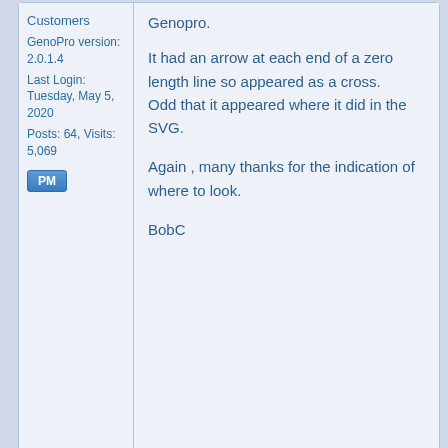Genopro.
Customers
GenoPro version: 2.0.1.4
Last Login: Tuesday, May 5, 2020
Posts: 64, Visits: 5,069
It had an arrow at each end of a zero length line so appeared as a cross.    Odd that it appeared where it did in the SVG.
Again , many thanks for the indication of where to look.
BobC
[Figure (screenshot): NEW REPLY button with green arrow icon]
Similar Topics
[Figure (other): Loading spinner animation in Similar Topics section]